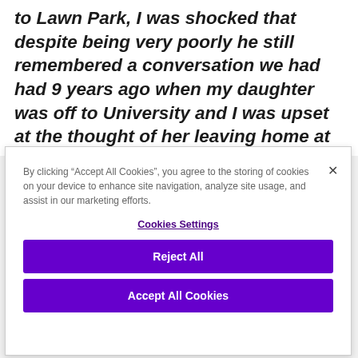to Lawn Park, I was shocked that despite being very poorly he still remembered a conversation we had had 9 years ago when my daughter was off to University and I was upset at the thought of her leaving home at 18. Frank comforted me
By clicking “Accept All Cookies”, you agree to the storing of cookies on your device to enhance site navigation, analyze site usage, and assist in our marketing efforts.
Cookies Settings
Reject All
Accept All Cookies